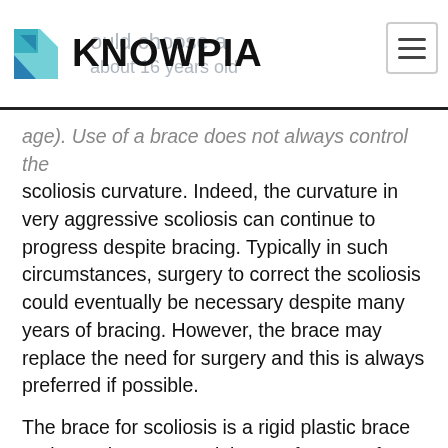KNOWPIA
age). Use of a brace does not always control the scoliosis curvature. Indeed, the curvature in very aggressive scoliosis can continue to progress despite bracing. Typically in such circumstances, surgery to correct the scoliosis could eventually be necessary despite many years of bracing. However, the brace may replace the need for surgery and this is always preferred if possible.
The brace for scoliosis is a rigid plastic brace and must be worn a minimum of 18 out of 24 hours per day. Ongoing brace adjustments will needed and are necessary to maximize the scoliosis correction. If you are required to wear a brace to treat ongoing adolescent scoliosis, it will be necessary to visit the clinic or doctor or orthotist every few months. In a few